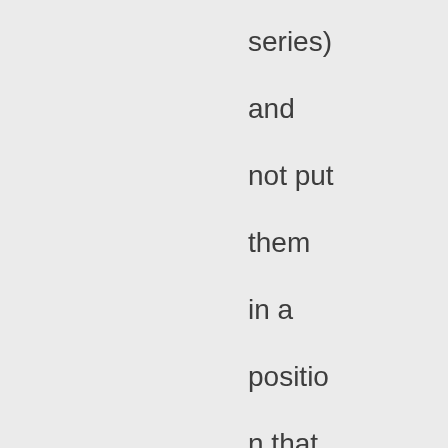series) and not put them in a position that might make them reconsider the kind of character